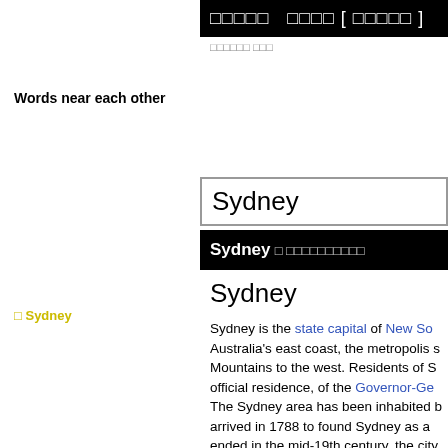Words near each other
□□□□□  □□□□ [ □□□□□ ]
□□□□□□ □□□
Sydney
Sydney □ □□□□□□□□□□
Sydney
Sydney is the state capital of New So... Australia's east coast, the metropolis s... Mountains to the west. Residents of S... official residence, of the Governor-Ge... The Sydney area has been inhabited b... arrived in 1788 to found Sydney as a ... ended in the mid-19th century, the city... centre. The population of Sydney at the time... different nationalities and making Syd... different...
□ Sydney